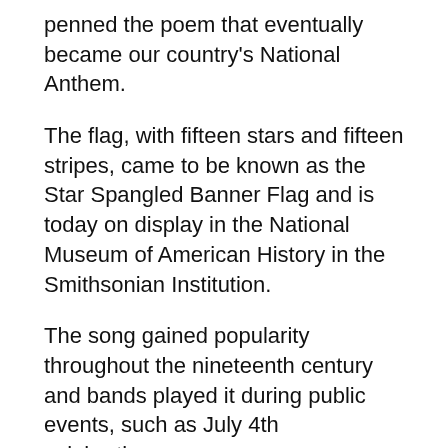penned the poem that eventually became our country's National Anthem.
The flag, with fifteen stars and fifteen stripes, came to be known as the Star Spangled Banner Flag and is today on display in the National Museum of American History in the Smithsonian Institution.
The song gained popularity throughout the nineteenth century and bands played it during public events, such as July 4th celebrations.
On July 27, 1889, Secretary of the Navy Benjamin F. Tracy signed General Order #374, making “The Star-Spangled Banner” the official tune to be played at the raising of the flag.